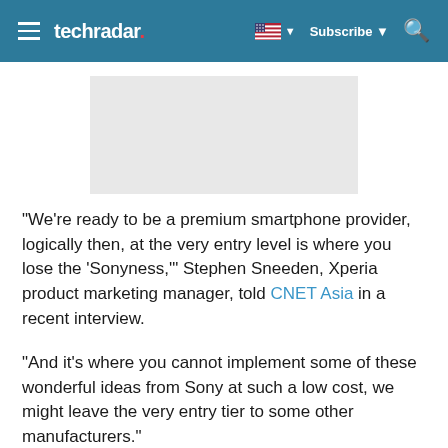techradar | Subscribe
[Figure (other): Advertisement placeholder grey rectangle]
"We're ready to be a premium smartphone provider, logically then, at the very entry level is where you lose the 'Sonyness,'" Stephen Sneeden, Xperia product marketing manager, told CNET Asia in a recent interview.
"And it's where you cannot implement some of these wonderful ideas from Sony at such a low cost, we might leave the very entry tier to some other manufacturers."